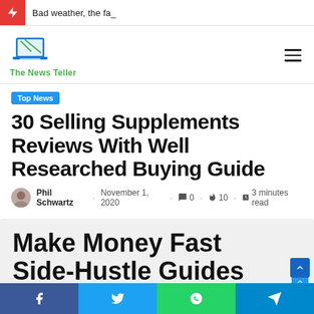Bad weather, the fa_
[Figure (logo): The News Teller website logo with laptop icon and green text]
Top News
30 Selling Supplements Reviews With Well Researched Buying Guide
Phil Schwartz · November 1, 2020 · 0 · 10 · 3 minutes read
[Figure (illustration): Make Money Fast Side-Hustle Guides text on grey background]